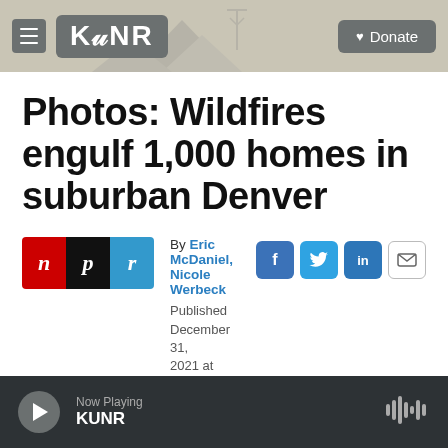KUNR — Donate
Photos: Wildfires engulf 1,000 homes in suburban Denver
By Eric McDaniel, Nicole Werbeck
Published December 31, 2021 at 10:37 AM PST
Now Playing KUNR